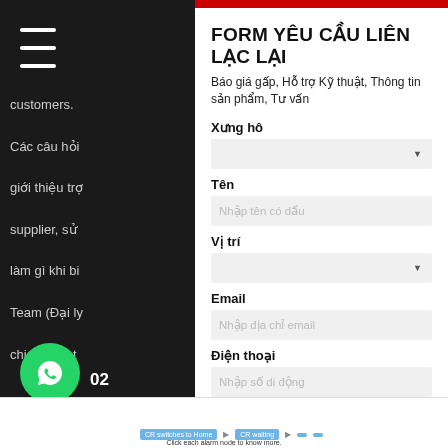FORM YÊU CẦU LIÊN LẠC LẠI
Báo giá gấp, Hỗ trợ Kỹ thuật, Thông tin sản phẩm, Tư vấn
Xưng hô
Tên
Nhập tên có dấu
Vị trí
Email
Nhập địa chỉ email
Điện thoại
Nhập số di động
Liên lạc lại với tôi ngay